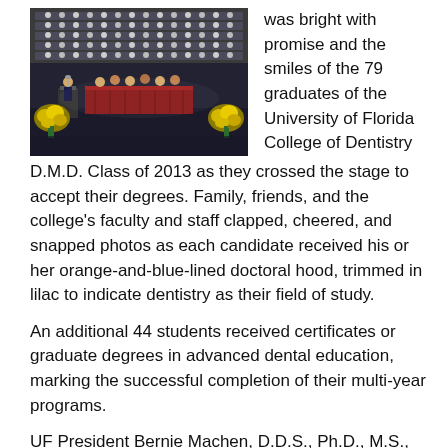[Figure (photo): A large group of graduation ceremony attendees seated in rows in an auditorium, with graduates in caps and gowns on a stage with a red-draped table and yellow floral arrangements.]
was bright with promise and the smiles of the 79 graduates of the University of Florida College of Dentistry D.M.D. Class of 2013 as they crossed the stage to accept their degrees. Family, friends, and the college's faculty and staff clapped, cheered, and snapped photos as each candidate received his or her orange-and-blue-lined doctoral hood, trimmed in lilac to indicate dentistry as their field of study.
An additional 44 students received certificates or graduate degrees in advanced dental education, marking the successful completion of their multi-year programs.
UF President Bernie Machen, D.D.S., Ph.D., M.S., welcomed everyone with optimistic remarks, telling the graduates, “The future of dentistry is such that I envy the careers you are embarking upon.”